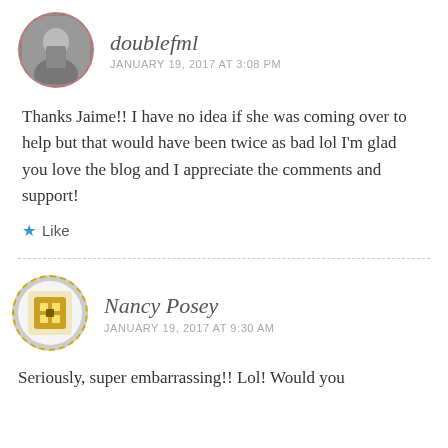[Figure (photo): Avatar photo of a person in a suit, circular with dashed red border]
doublefml
JANUARY 19, 2017 AT 3:08 PM
Thanks Jaime!! I have no idea if she was coming over to help but that would have been twice as bad lol I'm glad you love the blog and I appreciate the comments and support!
Like
[Figure (illustration): Avatar icon for Nancy Posey, square pixel art style in yellow/gold, circular with dashed yellow border]
Nancy Posey
JANUARY 19, 2017 AT 9:30 AM
Seriously, super embarrassing!! Lol! Would you